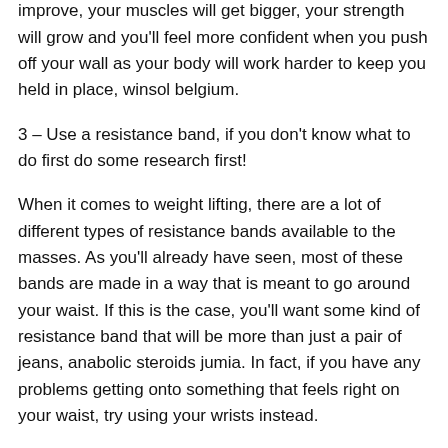You will become more powerful, your endurance will improve, your muscles will get bigger, your strength will grow and you'll feel more confident when you push off your wall as your body will work harder to keep you held in place, winsol belgium.
3 – Use a resistance band, if you don't know what to do first do some research first!
When it comes to weight lifting, there are a lot of different types of resistance bands available to the masses. As you'll already have seen, most of these bands are made in a way that is meant to go around your waist. If this is the case, you'll want some kind of resistance band that will be more than just a pair of jeans, anabolic steroids jumia. In fact, if you have any problems getting onto something that feels right on your waist, try using your wrists instead.